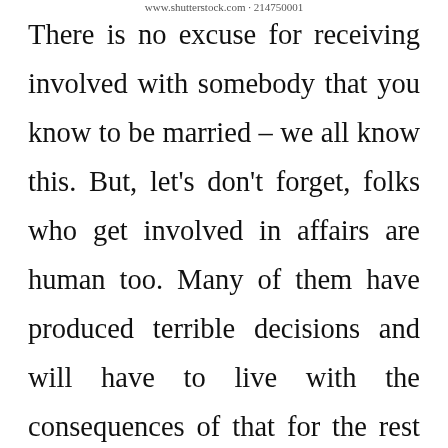www.shutterstock.com · 214750001
There is no excuse for receiving involved with somebody that you know to be married – we all know this. But, let's don't forget, folks who get involved in affairs are human too. Many of them have produced terrible decisions and will have to live with the consequences of that for the rest of their lives.
Please price this article utilizing the scale under. The scale is from 1 to 10, where 10 is the very best.